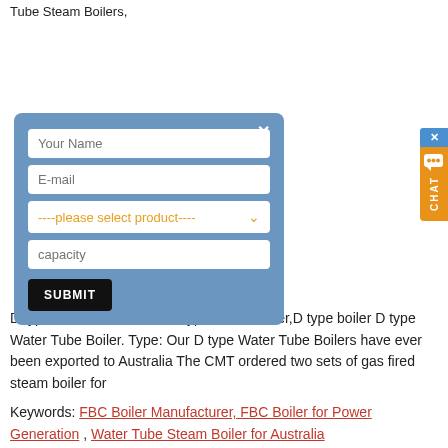Tube Steam Boilers,
[Figure (screenshot): A modal dialog box with a blue background containing a contact/inquiry form. Fields: Your Name, E-mail, a product selector dropdown (----please select product----), capacity textarea, and a SUBMIT button. An X close button is in the top right of the modal.]
[Figure (other): Orange CHAT button widget on the right side with a close X, chat bubble icon, and vertical text 'CHAT'.]
D type Water Tube Boiler,D type steam boiler,D type boiler D type Water Tube Boiler. Type: Our D type Water Tube Boilers have ever been exported to Australia The CMT ordered two sets of gas fired steam boiler for
Keywords: FBC Boiler Manufacturer, FBC Boiler for Power Generation , Water Tube Steam Boiler for Australia